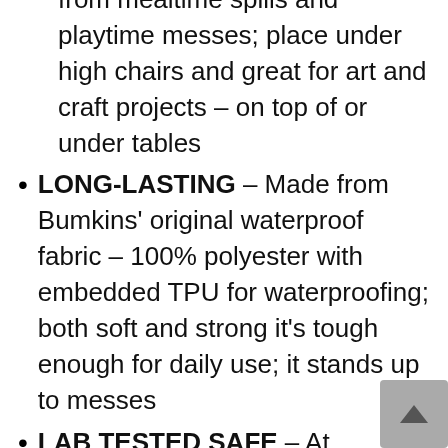from mealtime spills and playtime messes; place under high chairs and great for art and craft projects – on top of or under tables
LONG-LASTING – Made from Bumkins' original waterproof fabric – 100% polyester with embedded TPU for waterproofing; both soft and strong it's tough enough for daily use; it stands up to messes
LAB TESTED SAFE – At Bumkins, we take pride in our rigorous product testing to ensure you have the safest possible products; our signature